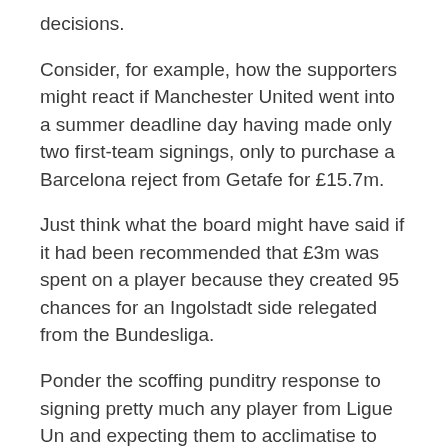decisions.
Consider, for example, how the supporters might react if Manchester United went into a summer deadline day having made only two first-team signings, only to purchase a Barcelona reject from Getafe for £15.7m.
Just think what the board might have said if it had been recommended that £3m was spent on a player because they created 95 chances for an Ingolstadt side relegated from the Bundesliga.
Ponder the scoffing punditry response to signing pretty much any player from Ligue Un and expecting them to acclimatise to the pace and power of the Premier League.
Yet Marc Cucurella, Pascal Gross and Yves Bissouma helped dismantle Manchester United. Moises Caicedo, too – a player the Red Devils only recently considered it too